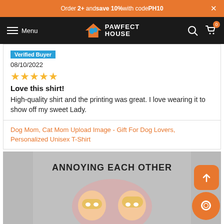Order 2+ and save 10% with code PH10
Menu | PAWFECT HOUSE
Verified Buyer
08/10/2022
★★★★★
Love this shirt!
High-quality shirt and the printing was great. I love wearing it to show off my sweet Lady.
Dog Mom, Cat Mom Upload Image - Gift For Dog Lovers, Personalized Unisex T-Shirt
[Figure (photo): Photo of a person wearing a grey t-shirt that reads 'ANNOYING EACH OTHER' with cartoon couple illustrations below the text]